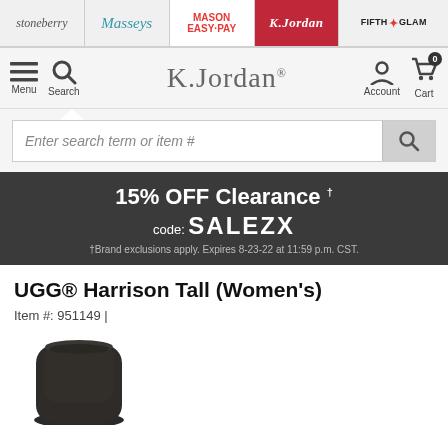stoneberry | Masseys | MASON EASY-PAY | K.Jordan | FIFTH GLAM
[Figure (screenshot): K.Jordan website navigation bar with Menu, Search, K.Jordan logo, Account, and Cart icons]
[Figure (screenshot): Search bar with placeholder text 'Enter search term or item #']
[Figure (infographic): Promotional banner: 15% OFF Clearance code: SALEZX. †Brand exclusions apply. Expires 8-23-22 at 11:59 p.m. CST.]
UGG® Harrison Tall (Women's)
Item #: 951149 |
[Figure (photo): Partial photo of dark brown/black tall UGG boot]